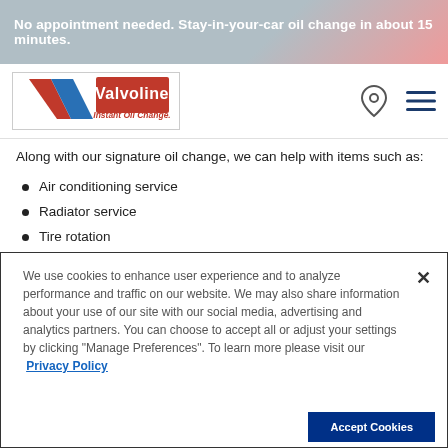No appointment needed. Stay-in-your-car oil change in about 15 minutes.
[Figure (logo): Valvoline Instant Oil Change logo with red V chevron and blue V chevron, red rectangle with Valvoline text in white, red italic text Instant Oil Change below]
Along with our signature oil change, we can help with items such as:
Air conditioning service
Radiator service
Tire rotation
Replace serpentine belt
Transmission service
We use cookies to enhance user experience and to analyze performance and traffic on our website. We may also share information about your use of our site with our social media, advertising and analytics partners. You can choose to accept all or adjust your settings by clicking "Manage Preferences". To learn more please visit our Privacy Policy